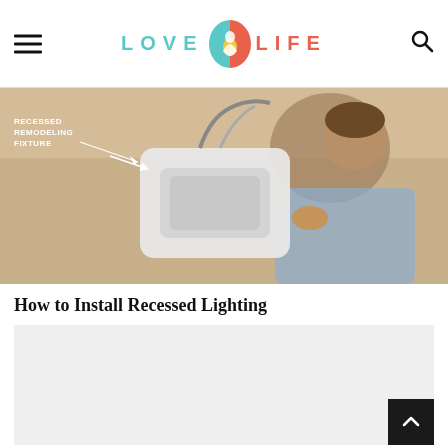LOVE LIFE (logo with icon)
[Figure (photo): A man installing a recessed lighting remodeling fixture into a ceiling. White text label 'RECESSED REMODELING FIXTURE' with an arrow pointing to the fixture is overlaid on the left side of the image.]
How to Install Recessed Lighting
[Figure (other): Light gray advertisement or content placeholder block]